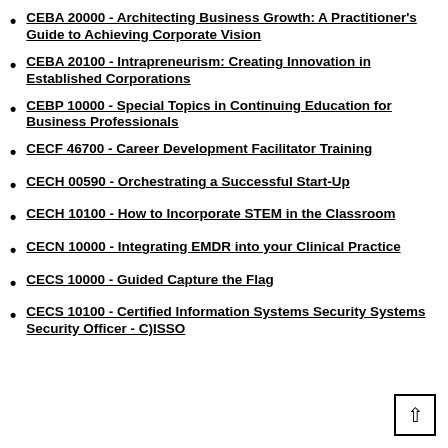CEBA 20000 - Architecting Business Growth: A Practitioner's Guide to Achieving Corporate Vision
CEBA 20100 - Intrapreneurism: Creating Innovation in Established Corporations
CEBP 10000 - Special Topics in Continuing Education for Business Professionals
CECF 46700 - Career Development Facilitator Training
CECH 00590 - Orchestrating a Successful Start-Up
CECH 10100 - How to Incorporate STEM in the Classroom
CECN 10000 - Integrating EMDR into your Clinical Practice
CECS 10000 - Guided Capture the Flag
CECS 10100 - Certified Information Systems Security Systems Security Officer - C)ISSO